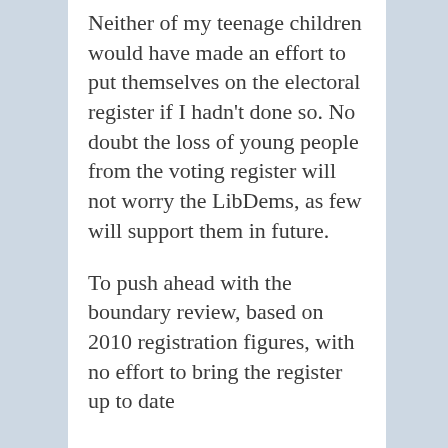Neither of my teenage children would have made an effort to put themselves on the electoral register if I hadn't done so. No doubt the loss of young people from the voting register will not worry the LibDems, as few will support them in future.
To push ahead with the boundary review, based on 2010 registration figures, with no effort to bring the register up to date